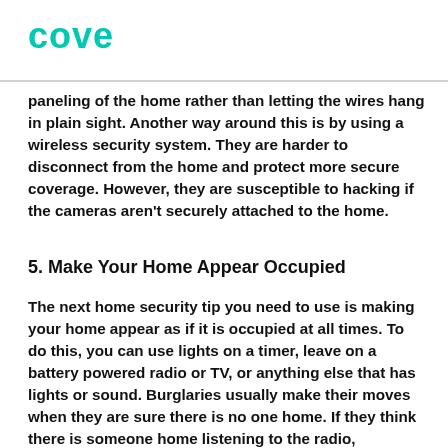cove
paneling of the home rather than letting the wires hang in plain sight. Another way around this is by using a wireless security system. They are harder to disconnect from the home and protect more secure coverage. However, they are susceptible to hacking if the cameras aren't securely attached to the home.
5. Make Your Home Appear Occupied
The next home security tip you need to use is making your home appear as if it is occupied at all times. To do this, you can use lights on a timer, leave on a battery powered radio or TV, or anything else that has lights or sound. Burglaries usually make their moves when they are sure there is no one home. If they think there is someone home listening to the radio,